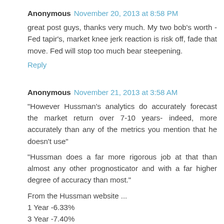Anonymous  November 20, 2013 at 8:58 PM
great post guys, thanks very much. My two bob's worth - Fed tapir's, market knee jerk reaction is risk off, fade that move. Fed will stop too much bear steepening.
Reply
Anonymous  November 21, 2013 at 3:58 AM
"However Hussman's analytics do accurately forecast the market return over 7-10 years- indeed, more accurately than any of the metrics you mention that he doesn't use"
"Hussman does a far more rigorous job at that than almost any other prognosticator and with a far higher degree of accuracy than most."
From the Hussman website ...
1 Year -6.33%
3 Year -7.40%